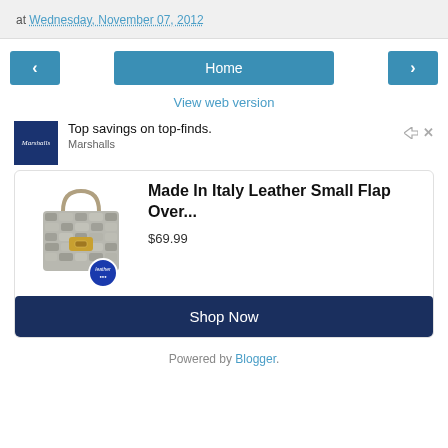at Wednesday, November 07, 2012
[Figure (screenshot): Navigation buttons: left arrow, Home button, right arrow]
View web version
[Figure (screenshot): Marshalls advertisement: Top savings on top-finds. Made In Italy Leather Small Flap Over... $69.99 - Shop Now]
Powered by Blogger.